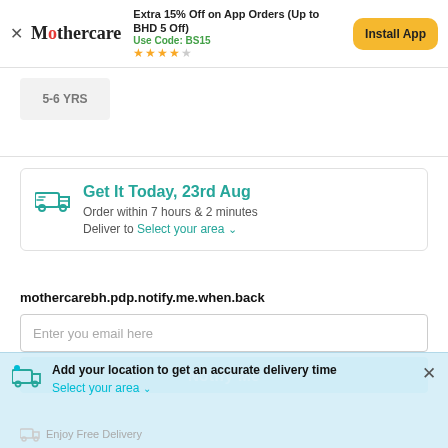[Figure (screenshot): Mothercare app banner with logo, promo text, star rating, and Install App button]
5-6 YRS
Get It Today, 23rd Aug
Order within 7 hours & 2 minutes
Deliver to Select your area
mothercarebh.pdp.notify.me.when.back
Enter you email here
Notify Me
Add your location to get an accurate delivery time
Select your area
Enjoy Free Delivery